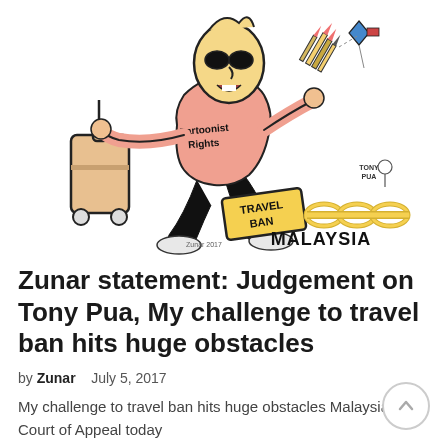[Figure (illustration): Cartoon illustration of a character wearing a shirt labeled 'Cartoonist Rights', running while pulling a suitcase, with pencils/arrows tucked under one arm, and chained to a block labeled 'TRAVEL BAN' with 'MALAYSIA' text and chain links stretching to the right. A small kite with a flag is in the upper right, and a small 'TONY PUA' label appears mid-right.]
Zunar statement: Judgement on Tony Pua, My challenge to travel ban hits huge obstacles
by Zunar   July 5, 2017
My challenge to travel ban hits huge obstacles Malaysian Court of Appeal today